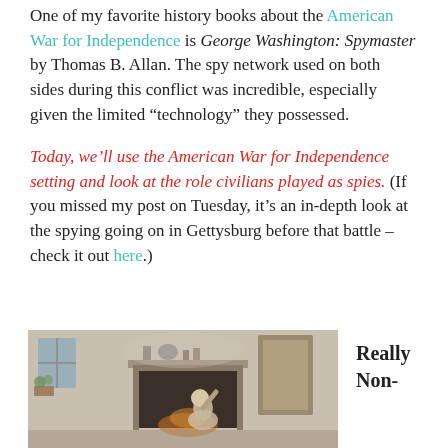One of my favorite history books about the American War for Independence is George Washington: Spymaster by Thomas B. Allan. The spy network used on both sides during this conflict was incredible, especially given the limited “technology” they possessed.
Today, we’ll use the American War for Independence setting and look at the role civilians played as spies. (If you missed my post on Tuesday, it’s an in-depth look at the spying going on in Gettysburg before that battle – check it out here.)
[Figure (illustration): Black and white illustration of a colonial-era scene with a figure near a fireplace in a rustic interior room]
Really Non-